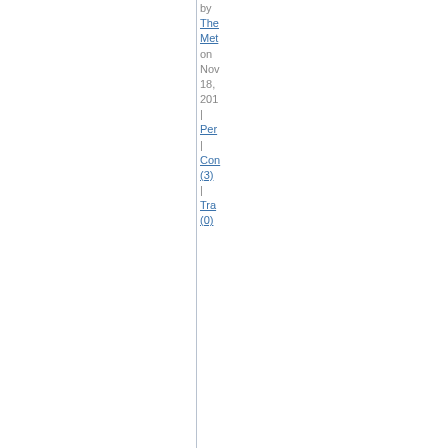by The Met on Nov 18, 2011 | Per | Com (3) | Tra (0)
FEBRUARY
03,
2011
Th Le of Ja Co (Ea En Se
Th Eas En